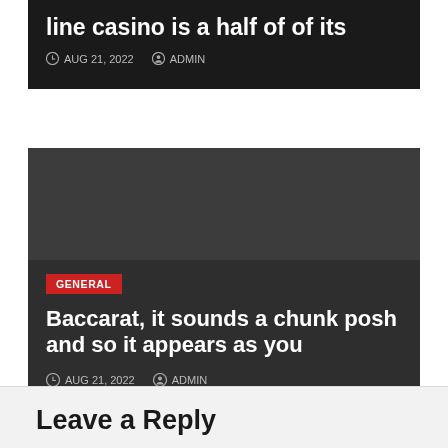line casino is a half of of its
AUG 21, 2022   ADMIN
[Figure (screenshot): Dark card with GENERAL tag and article title about Baccarat]
GENERAL
Baccarat, it sounds a chunk posh and so it appears as you
AUG 21, 2022   ADMIN
Leave a Reply